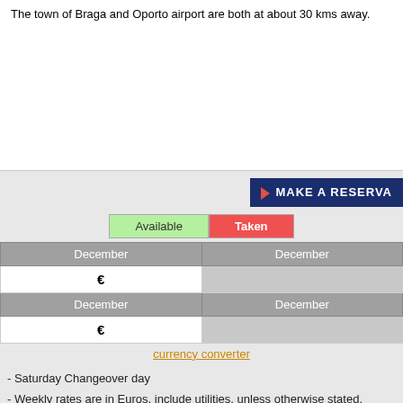The town of Braga and Oporto airport are both at about 30 kms away.
[Figure (other): White empty area / image placeholder]
[Figure (other): Make a Reservation button with red play arrow icon]
Available   Taken
| December | December |
| --- | --- |
| € |  |
| December | December |
| € |  |
currency converter
- Saturday Changeover day
- Weekly rates are in Euros, include utilities, unless otherwise stated, weekly
- Towels for pool/beach are not included